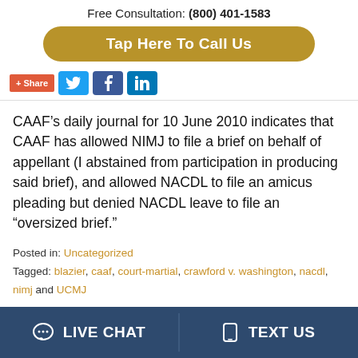Free Consultation: (800) 401-1583
Tap Here To Call Us
[Figure (other): Social sharing bar with +Share, Twitter, Facebook, LinkedIn buttons]
CAAF’s daily journal for 10 June 2010 indicates that CAAF has allowed NIMJ to file a brief on behalf of appellant (I abstained from participation in producing said brief), and allowed NACDL to file an amicus pleading but denied NACDL leave to file an “oversized brief.”
Posted in: Uncategorized
Tagged: blazier, caaf, court-martial, crawford v. washington, nacdl, nimj and UCMJ
LIVE CHAT   TEXT US